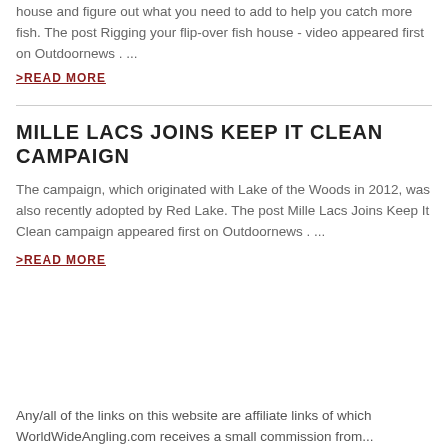house and figure out what you need to add to help you catch more fish. The post Rigging your flip-over fish house - video appeared first on Outdoornews . ...
>READ MORE
MILLE LACS JOINS KEEP IT CLEAN CAMPAIGN
The campaign, which originated with Lake of the Woods in 2012, was also recently adopted by Red Lake. The post Mille Lacs Joins Keep It Clean campaign appeared first on Outdoornews . ...
>READ MORE
Any/all of the links on this website are affiliate links of which WorldWideAngling.com receives a small commission from...